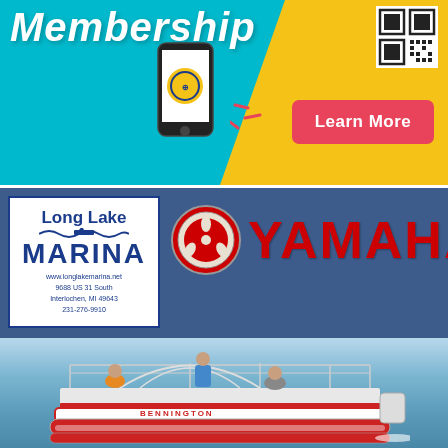[Figure (illustration): Membership promotion banner ad with teal and gold diagonal background, smartphone graphic, circular logo, QR code, and pink 'Learn More' button. Text reads 'Membership' in white italic letters.]
[Figure (illustration): Long Lake Marina advertisement featuring Yamaha branding. White box with 'Long Lake MARINA' logo and address: www.longlakemarina.net, 9688 US 31 South, Interlochen, MI 49643, 231-276-9910. Yamaha logo and red YAMAHA text on dark blue background. Photo of red and white pontoon boat with people on water.]